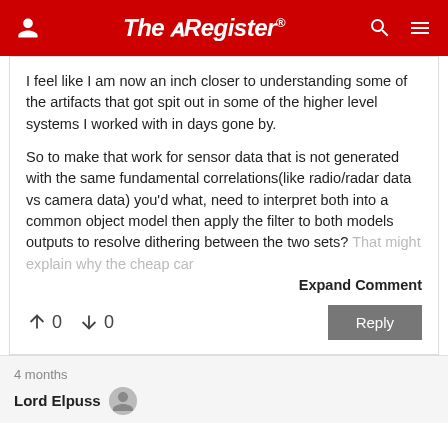The Register
I feel like I am now an inch closer to understanding some of the artifacts that got spit out in some of the higher level systems I worked with in days gone by.
So to make that work for sensor data that is not generated with the same fundamental correlations(like radio/radar data vs camera data) you'd what, need to interpret both into a common object model then apply the filter to both models outputs to resolve dithering between the two sets? That might explain why the cheap car
Expand Comment
↑0  ↓0
Reply
4 months
Lord Elpuss